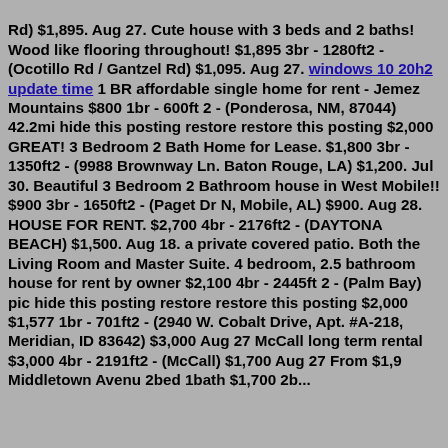Rd) $1,895. Aug 27. Cute house with 3 beds and 2 baths! Wood like flooring throughout! $1,895 3br - 1280ft2 - (Ocotillo Rd / Gantzel Rd) $1,095. Aug 27. windows 10 20h2 update time 1 BR affordable single home for rent - Jemez Mountains $800 1br - 600ft 2 - (Ponderosa, NM, 87044) 42.2mi hide this posting restore restore this posting $2,000 GREAT! 3 Bedroom 2 Bath Home for Lease. $1,800 3br - 1350ft2 - (9988 Brownway Ln. Baton Rouge, LA) $1,200. Jul 30. Beautiful 3 Bedroom 2 Bathroom house in West Mobile!! $900 3br - 1650ft2 - (Paget Dr N, Mobile, AL) $900. Aug 28. HOUSE FOR RENT. $2,700 4br - 2176ft2 - (DAYTONA BEACH) $1,500. Aug 18. a private covered patio. Both the Living Room and Master Suite. 4 bedroom, 2.5 bathroom house for rent by owner $2,100 4br - 2445ft 2 - (Palm Bay) pic hide this posting restore restore this posting $2,000 $1,577 1br - 701ft2 - (2940 W. Cobalt Drive, Apt. #A-218, Meridian, ID 83642) $3,000 Aug 27 McCall long term rental $3,000 4br - 2191ft2 - (McCall) $1,700 Aug 27 From $1,9 Middletown Avenu 2bed 1bath $1,700 2b...